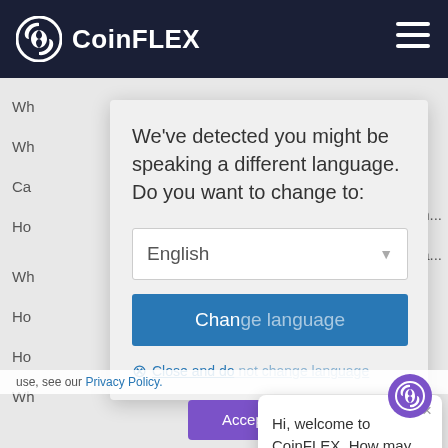[Figure (screenshot): CoinFLEX website header with dark navy background showing CoinFLEX logo and hamburger menu icon]
We've detected you might be speaking a different language. Do you want to change to:
English
Change language
Close and do not change language
Hi, welcome to CoinFLEX. How may we help?
use, see our Privacy Policy.
Accept
Decline